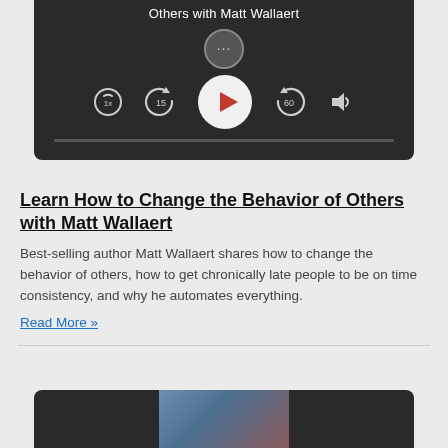[Figure (screenshot): Podcast player UI with dark background showing title 'Others with Matt Wallaert', avatar circle with dots, play button, skip controls (15 back, 60 forward), speed (1x), and volume icon]
Learn How to Change the Behavior of Others with Matt Wallaert
Best-selling author Matt Wallaert shares how to change the behavior of others, how to get chronically late people to be on time consistency, and why he automates everything.
Read More »
[Figure (screenshot): Second podcast player UI, partially visible at bottom, dark background with thumbnail image]